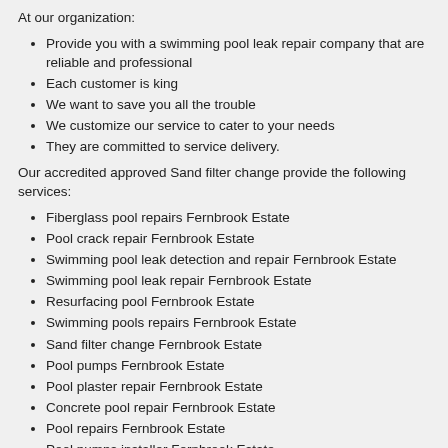At our organization:
Provide you with a swimming pool leak repair company that are reliable and professional
Each customer is king
We want to save you all the trouble
We customize our service to cater to your needs
They are committed to service delivery.
Our accredited approved Sand filter change provide the following services:
Fiberglass pool repairs Fernbrook Estate
Pool crack repair Fernbrook Estate
Swimming pool leak detection and repair Fernbrook Estate
Swimming pool leak repair Fernbrook Estate
Resurfacing pool Fernbrook Estate
Swimming pools repairs Fernbrook Estate
Sand filter change Fernbrook Estate
Pool pumps Fernbrook Estate
Pool plaster repair Fernbrook Estate
Concrete pool repair Fernbrook Estate
Pool repairs Fernbrook Estate
Pool pumps installer Fernbrook Estate
Fiberglass pool repair Fernbrook Estate
Sand filter repairs Fernbrook Estate
Sand filter change Fernbrook Estate
Pool pump installations Fernbrook Estate